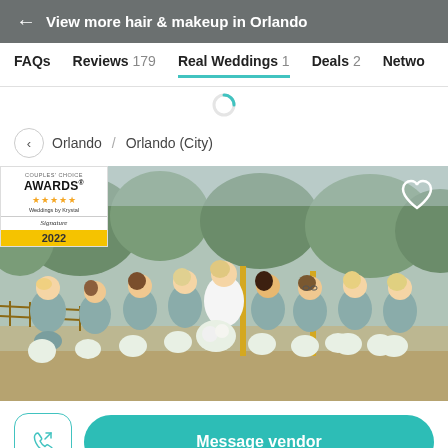← View more hair & makeup in Orlando
FAQs   Reviews 179   Real Weddings 1   Deals 2   Netwo
< Orlando / Orlando (City)
[Figure (photo): Wedding party photo showing bride in white dress surrounded by bridesmaids in teal/dusty blue dresses holding white floral bouquets, outdoors with trees in background. An award badge overlay in top-left shows 'Couples Choice Awards 2022' with 5 stars. A heart icon is in the top-right corner.]
Message vendor